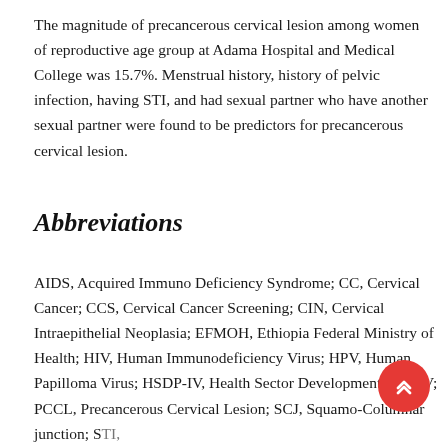The magnitude of precancerous cervical lesion among women of reproductive age group at Adama Hospital and Medical College was 15.7%. Menstrual history, history of pelvic infection, having STI, and had sexual partner who have another sexual partner were found to be predictors for precancerous cervical lesion.
Abbreviations
AIDS, Acquired Immuno Deficiency Syndrome; CC, Cervical Cancer; CCS, Cervical Cancer Screening; CIN, Cervical Intraepithelial Neoplasia; EFMOH, Ethiopia Federal Ministry of Health; HIV, Human Immunodeficiency Virus; HPV, Human Papilloma Virus; HSDP-IV, Health Sector Development Plan-IV; PCCL, Precancerous Cervical Lesion; SCJ, Squamo-Columnar junction; STI, Sexual Transmitted Infections; SVA, Single Visit Approach;